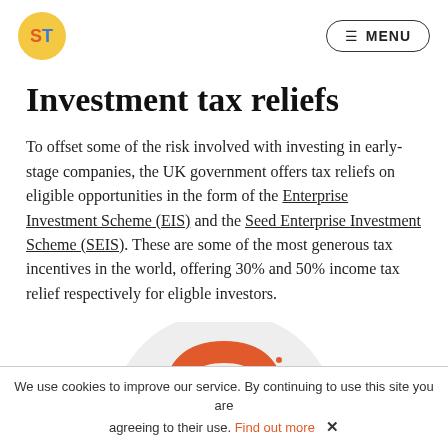ST [logo] | MENU
Investment tax reliefs
To offset some of the risk involved with investing in early-stage companies, the UK government offers tax reliefs on eligible opportunities in the form of the Enterprise Investment Scheme (EIS) and the Seed Enterprise Investment Scheme (SEIS). These are some of the most generous tax incentives in the world, offering 30% and 50% income tax relief respectively for eligble investors.
[Figure (illustration): Partial illustration of a magnet/money graphic on a light grey circle background, partially cropped at bottom of page]
We use cookies to improve our service. By continuing to use this site you are agreeing to their use. Find out more ✕